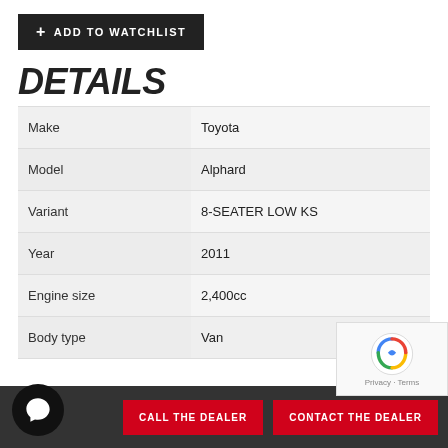+ ADD TO WATCHLIST
DETAILS
| Field | Value |
| --- | --- |
| Make | Toyota |
| Model | Alphard |
| Variant | 8-SEATER LOW KS |
| Year | 2011 |
| Engine size | 2,400cc |
| Body type | Van |
CALL THE DEALER
CONTACT THE DEALER